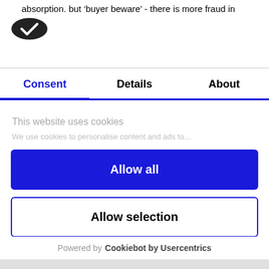absorption. but  buyer beware' - there is more fraud in
[Figure (logo): Cookiebot logo - dark oval shape with white checkmark]
Consent | Details | About
This website uses cookies
We use cookies to personalise content and ads to...
Allow all
Allow selection
Deny
Powered by Cookiebot by Usercentrics